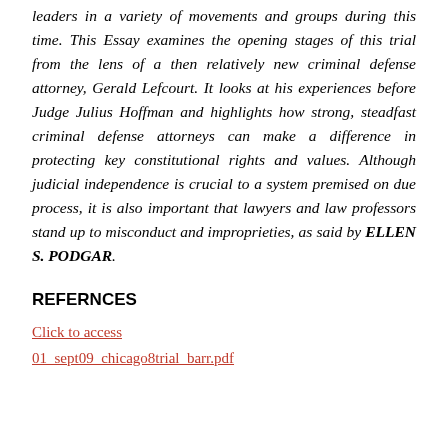leaders in a variety of movements and groups during this time. This Essay examines the opening stages of this trial from the lens of a then relatively new criminal defense attorney, Gerald Lefcourt. It looks at his experiences before Judge Julius Hoffman and highlights how strong, steadfast criminal defense attorneys can make a difference in protecting key constitutional rights and values. Although judicial independence is crucial to a system premised on due process, it is also important that lawyers and law professors stand up to misconduct and improprieties, as said by ELLEN S. PODGAR.
REFERNCES
Click to access
01_sept09_chicago8trial_barr.pdf